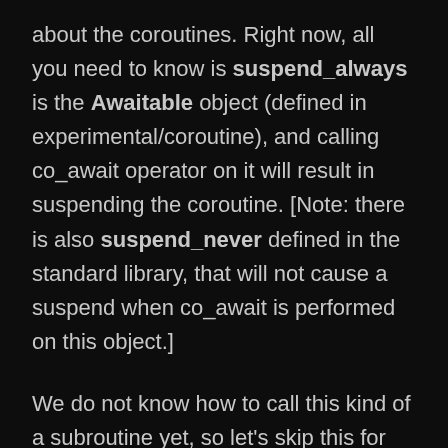about the coroutines. Right now, all you need to know is suspend_always is the Awaitable object (defined in experimental/coroutine), and calling co_await operator on it will result in suspending the coroutine. [Note: there is also suspend_never defined in the standard library, that will not cause a suspend when co_await is performed on this object.]
We do not know how to call this kind of a subroutine yet, so let’s skip this for now. But even if we try to compile this code we will get the following error: